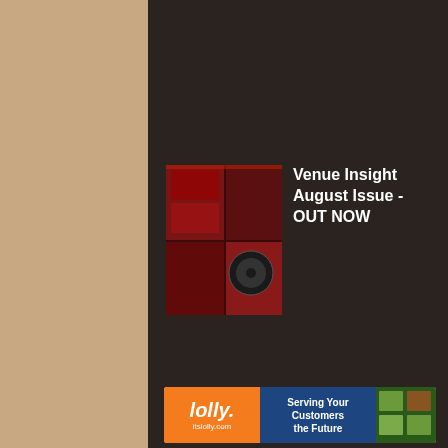[Figure (screenshot): Thumbnail image for Venue Insight August Issue article - red-toned magazine cover image with dark panels and display screens]
Venue Insight August Issue - OUT NOW
[Figure (photo): Thumbnail photo of a bald man in a white shirt against a dark background, associated with iVario article]
iVario, the New Performance Class
Venue Insight Magazine is produced by Crystal Design & Media Ltd (No. 07640081)
[Figure (illustration): Advertisement banner for lolly / itslolly.com with text 'Serving Your Customers the Future' on a banner with blue and orange branding and food images]